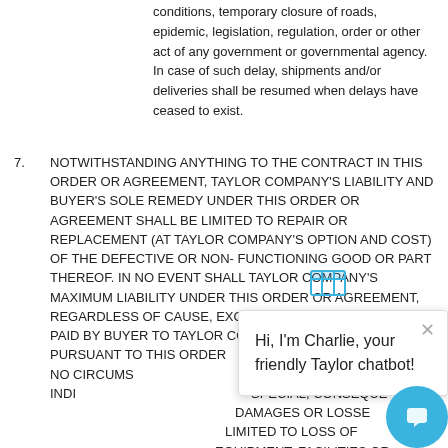conditions, temporary closure of roads, epidemic, legislation, regulation, order or other act of any government or governmental agency. In case of such delay, shipments and/or deliveries shall be resumed when delays have ceased to exist.
7. NOTWITHSTANDING ANYTHING TO THE CONTRACT IN THIS ORDER OR AGREEMENT, TAYLOR COMPANY'S LIABILITY AND BUYER'S SOLE REMEDY UNDER THIS ORDER OR AGREEMENT SHALL BE LIMITED TO REPAIR OR REPLACEMENT (AT TAYLOR COMPANY'S OPTION AND COST) OF THE DEFECTIVE OR NON- FUNCTIONING GOOD OR PART THEREOF. IN NO EVENT SHALL TAYLOR COMPANY'S MAXIMUM LIABILITY UNDER THIS ORDER OR AGREEMENT, REGARDLESS OF CAUSE, EXCEED THE TOTAL AMOUNT PAID BY BUYER TO TAYLOR COMPANY FOR THE GOODS PURSUANT TO THIS ORDER OR AGREEMENT. UNDER NO CIRCUMSTANCES SHALL TAYLOR COMPANY BE LIABLE FOR ANY INDIRECT, INCIDENTAL, EXEMPLARY, SPECIAL, CONSEQUENTIAL OR PUNITIVE DAMAGES OR LOSSES, INCLUDING BUT NOT LIMITED TO LOSS OF USE, LOSS OF PRODUCTION, EQUIPMENT, FACILITIES OR PROPERTY, LOSS OF ANTICIPATED SAVINGS OR LOST PROFITS, RECALLS, HARM TO BUSINESS OR BUSINESS REPUTATION OR ECONOMIC DAMAGES, WHETHER ARISING IN CONTRACT (INCLUDING WARRANTY), TORT (INCLUDING ACTIVE, PASSIVE OR IMPUTED NEGLIGENCE), STRICT LIABILITY OR